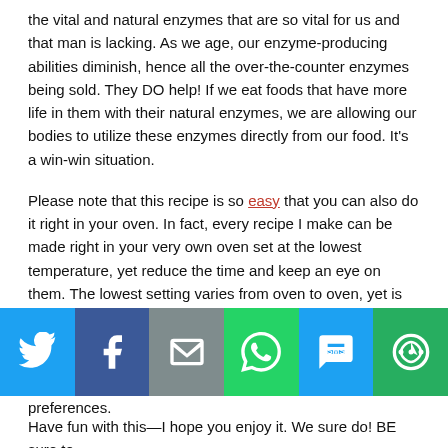the vital and natural enzymes that are so vital for us and that man is lacking. As we age, our enzyme-producing abilities diminish, hence all the over-the-counter enzymes being sold. They DO help! If we eat foods that have more life in them with their natural enzymes, we are allowing our bodies to utilize these enzymes directly from our food. It's a win-win situation.
Please note that this recipe is so easy that you can also do it right in your oven. In fact, every recipe I make can be made right in your very own oven set at the lowest temperature, yet reduce the time and keep an eye on them. The lowest setting varies from oven to oven, yet is usually around 175-200F degrees.
Some like a creamier snack that reminds them of a gooey fudge,
[Figure (infographic): Social sharing bar with icons for Twitter (blue), Facebook (dark blue), Email (gray), WhatsApp (green), SMS (light blue), and More (green)]
preferences.
Have fun with this—I hope you enjoy it. We sure do! BE sure to contact me and share your pictures and ideas. I always love to